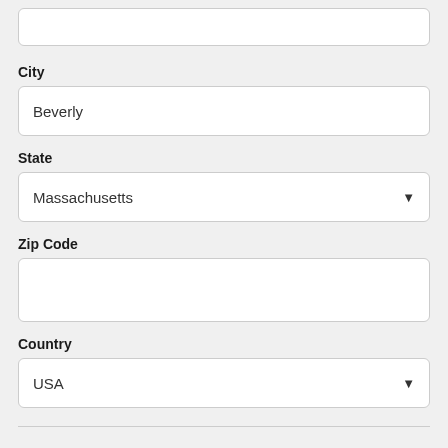(partial input box at top)
City
Beverly
State
Massachusetts
Zip Code
Country
USA
Service Information
Size Of M...